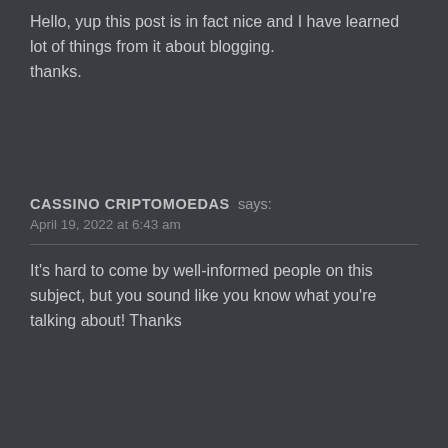Hello, yup this post is in fact nice and I have learned lot of things from it about blogging. thanks.
CASSINO CRIPTOMOEDAS says:
April 19, 2022 at 6:43 am
It’s hard to come by well-informed people on this subject, but you sound like you know what you’re talking about! Thanks